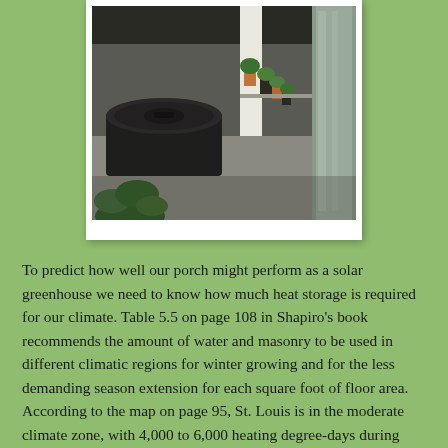[Figure (photo): Photo of a porch greenhouse interior showing a large black barrel water container, potted plants on a bench along a wall of windows, with natural light coming through glass panels.]
To predict how well our porch might perform as a solar greenhouse we need to know how much heat storage is required for our climate. Table 5.5 on page 108 in Shapiro’s book recommends the amount of water and masonry to be used in different climatic regions for winter growing and for the less demanding season extension for each square foot of floor area. According to the map on page 95, St. Louis is in the moderate climate zone, with 4,000 to 6,000 heating degree-days during heating season (for comparison, the St. Louis NWS says that St.